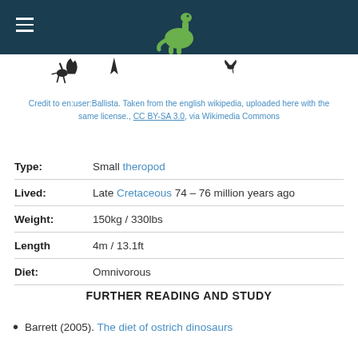[Figure (illustration): Dark teal header bar with white hamburger menu icon on the left and a green cartoon sauropod dinosaur icon in the center.]
[Figure (illustration): Strip showing small black silhouettes of running dinosaurs (theropods) at the top of the page content area.]
Credit to en:user:Ballista. Taken from the english wikipedia, uploaded here with the same license., CC BY-SA 3.0, via Wikimedia Commons
| Field | Value |
| --- | --- |
| Type: | Small theropod |
| Lived: | Late Cretaceous 74 – 76 million years ago |
| Weight: | 150kg / 330lbs |
| Length | 4m / 13.1ft |
| Diet: | Omnivorous |
FURTHER READING AND STUDY
Barrett (2005). The diet of ostrich dinosaurs